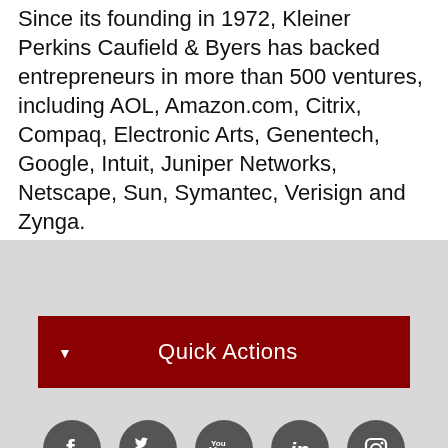Since its founding in 1972, Kleiner Perkins Caufield & Byers has backed entrepreneurs in more than 500 ventures, including AOL, Amazon.com, Citrix, Compaq, Electronic Arts, Genentech, Google, Intuit, Juniper Networks, Netscape, Sun, Symantec, Verisign and Zynga.
[Figure (infographic): Dark red 'Quick Actions' dropdown button with a white downward-pointing triangle arrow on the left]
[Figure (infographic): Row of five dark gray circular social media icons: Facebook, Twitter, YouTube, LinkedIn, Instagram]